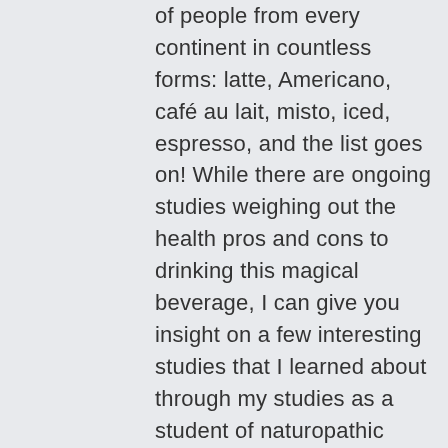of people from every continent in countless forms: latte, Americano, café au lait, misto, iced, espresso, and the list goes on! While there are ongoing studies weighing out the health pros and cons to drinking this magical beverage, I can give you insight on a few interesting studies that I learned about through my studies as a student of naturopathic medicine. These studies really blew my mind! But to start off this blog post, lets take a journey to learn how coffee is grown and cultivated. I will share with you some highlights from when I toured the Alajuela Coffee Plantation in Costa Rica last summer before I completed my yoga teacher training.